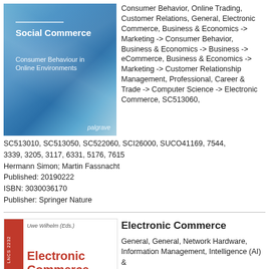[Figure (illustration): Book cover for 'Social Commerce: Consumer Behaviour in Online Environments' published by Palgrave, blue geometric abstract design]
Consumer Behavior, Online Trading, Customer Relations, General, Electronic Commerce, Business & Economics -> Marketing -> Consumer Behavior, Business & Economics -> Business -> eCommerce, Business & Economics -> Marketing -> Customer Relationship Management, Professional, Career & Trade -> Computer Science -> Electronic Commerce, SC513060, SC513010, SC513050, SC522060, SCI26000, SUCO41169, 7544, 3339, 3205, 3117, 6331, 5176, 7615
Hermann Simon; Martin Fassnacht
Published: 20190222
ISBN: 3030036170
Publisher: Springer Nature
[Figure (illustration): Book cover for 'Electronic Commerce' edited by Uwe Wilhelm, red stripe left side, LNCS 2232, Springer]
Electronic Commerce
General, General, Network Hardware, Information Management, Intelligence (AI) &